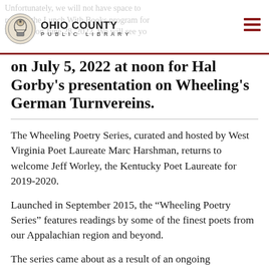Ohio County Public Library
on July 5, 2022 at noon for Hal Gorby's presentation on Wheeling's German Turnvereins.
The Wheeling Poetry Series, curated and hosted by West Virginia Poet Laureate Marc Harshman, returns to welcome Jeff Worley, the Kentucky Poet Laureate for 2019-2020.
Launched in September 2015, the “Wheeling Poetry Series” features readings by some of the finest poets from our Appalachian region and beyond.
The series came about as a result of an ongoing conversation with Harshman, who felt that there was a need for a dependable venue in which to present major American poets reading and